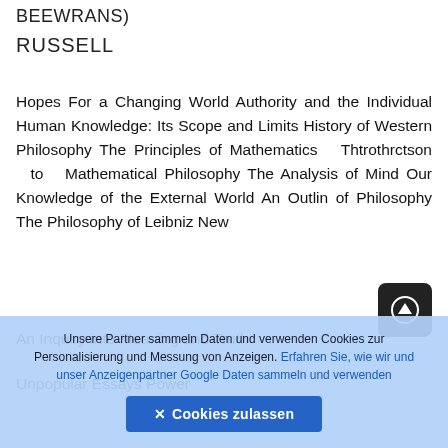BEEWRANS)
RUSSELL
Hopes For a Changing World Authority and the Individual Human Knowledge: Its Scope and Limits History of Western Philosophy The Principles of Mathematics Thtrothrctson to Mathematical Philosophy The Analysis of Mind Our Knowledge of the External World An Outlin of Philosophy The Philosophy of Leibniz New
An Inquiry into Meaning and Truth
Unpopular Essays Power
Unsere Partner sammeln Daten und verwenden Cookies zur Personalisierung und Messung von Anzeigen. Erfahren Sie, wie wir und unser Anzeigenpartner Google Daten sammeln und verwenden
✕ Cookies zulassen